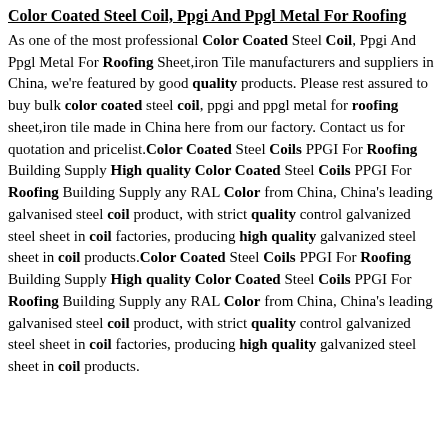Color Coated Steel Coil, Ppgi And Ppgl Metal For Roofing
As one of the most professional Color Coated Steel Coil, Ppgi And Ppgl Metal For Roofing Sheet,iron Tile manufacturers and suppliers in China, we're featured by good quality products. Please rest assured to buy bulk color coated steel coil, ppgi and ppgl metal for roofing sheet,iron tile made in China here from our factory. Contact us for quotation and pricelist.Color Coated Steel Coils PPGI For Roofing Building Supply High quality Color Coated Steel Coils PPGI For Roofing Building Supply any RAL Color from China, China's leading galvanised steel coil product, with strict quality control galvanized steel sheet in coil factories, producing high quality galvanized steel sheet in coil products.Color Coated Steel Coils PPGI For Roofing Building Supply High quality Color Coated Steel Coils PPGI For Roofing Building Supply any RAL Color from China, China's leading galvanised steel coil product, with strict quality control galvanized steel sheet in coil factories, producing high quality galvanized steel sheet in coil products.